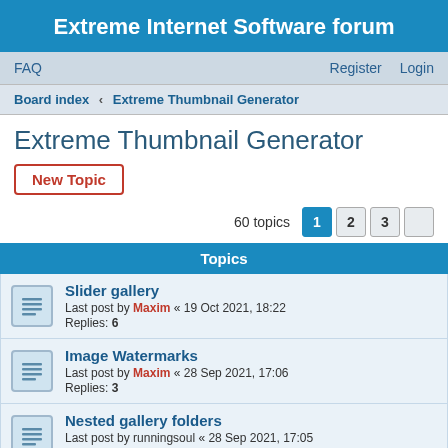Extreme Internet Software forum
FAQ    Register    Login
Board index › Extreme Thumbnail Generator
Extreme Thumbnail Generator
New Topic
60 topics  1  2  3
Topics
Slider gallery
Last post by Maxim « 19 Oct 2021, 18:22
Replies: 6
Image Watermarks
Last post by Maxim « 28 Sep 2021, 17:06
Replies: 3
Nested gallery folders
Last post by runningsoul « 28 Sep 2021, 17:05
Replies: 2
Right Click on Image
Last post by Maxim « 28 Jun 2021, 11:36
Replies: 1
Remove "Created with Extreme Thumbnail Generator" from